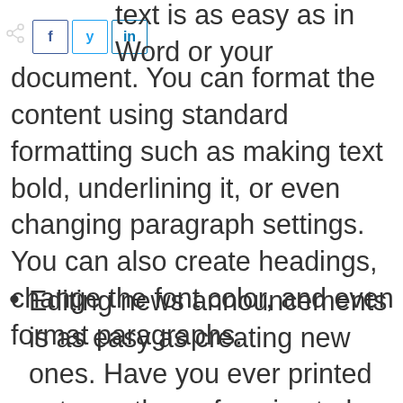text is as easy as in Word or your document. You can format the content using standard formatting such as making text bold, underlining it, or even changing paragraph settings. You can also create headings, change the font color, and even format paragraphs.
Editing news announcements is as easy as creating new ones. Have you ever printed out countless of copies to be delivered and then found a mistake? Well, you either had to fix it, or just send out the printed copies as